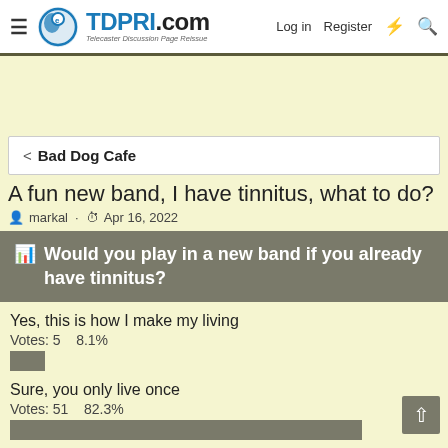TDPRI.com Telecaster Discussion Page Reissue — Log in  Register
< Bad Dog Cafe
A fun new band, I have tinnitus, what to do?
markal · Apr 16, 2022
Would you play in a new band if you already have tinnitus?
Yes, this is how I make my living
Votes: 5    8.1%
Sure, you only live once
Votes: 51    82.3%
Nah, I'd just play at home